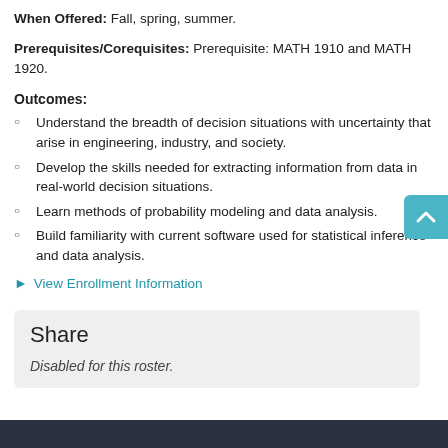When Offered: Fall, spring, summer.
Prerequisites/Corequisites: Prerequisite: MATH 1910 and MATH 1920.
Outcomes:
Understand the breadth of decision situations with uncertainty that arise in engineering, industry, and society.
Develop the skills needed for extracting information from data in real-world decision situations.
Learn methods of probability modeling and data analysis.
Build familiarity with current software used for statistical inference and data analysis.
View Enrollment Information
Share
Disabled for this roster.